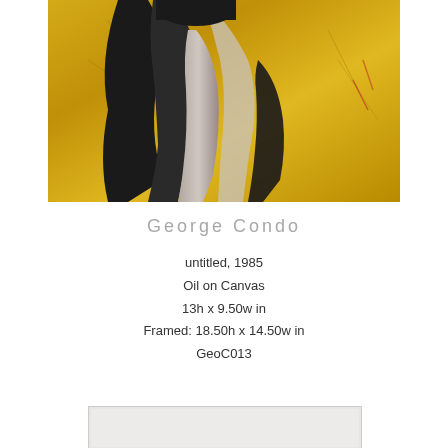[Figure (photo): Painting by George Condo showing a dark figure with flowing hair against a golden textured background, oil on canvas]
George Condo
untitled, 1985
Oil on Canvas
13h x 9.50w in
Framed: 18.50h x 14.50w in
GeoC013
[Figure (photo): Partial view of another artwork at the bottom of the page]